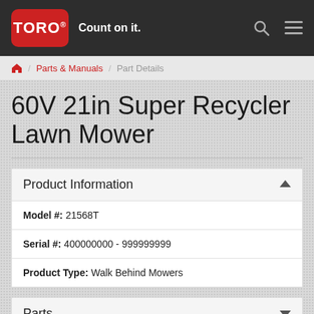TORO® Count on it.
🏠 / Parts & Manuals / Part Details
60V 21in Super Recycler Lawn Mower
Product Information
Model #: 21568T
Serial #: 400000000 - 999999999
Product Type: Walk Behind Mowers
Parts